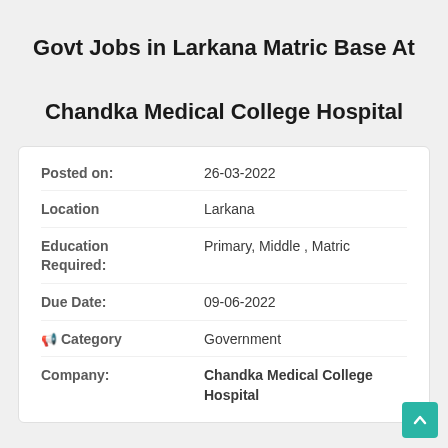Govt Jobs in Larkana Matric Base At Chandka Medical College Hospital
| Field | Value |
| --- | --- |
| Posted on: | 26-03-2022 |
| Location | Larkana |
| Education Required: | Primary, Middle , Matric |
| Due Date: | 09-06-2022 |
| Category | Government |
| Company: | Chandka Medical College Hospital |